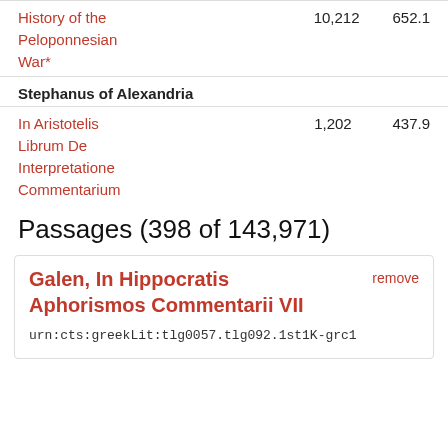| Work | Count | Value |
| --- | --- | --- |
| History of the Peloponnesian War* | 10,212 | 652.1 |
Stephanus of Alexandria
| Work | Count | Value |
| --- | --- | --- |
| In Aristotelis Librum De Interpretatione Commentarium | 1,202 | 437.9 |
Passages (398 of 143,971)
Galen, In Hippocratis Aphorismos Commentarii VII
urn:cts:greekLit:tlg0057.tlg092.1st1K-grc1